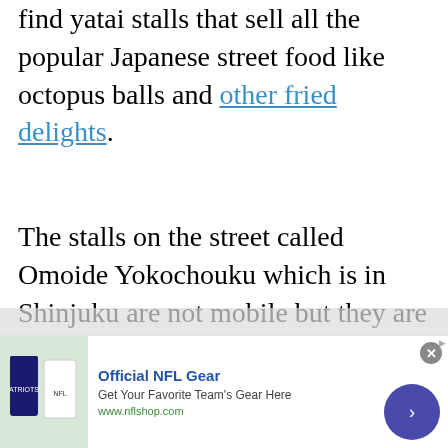find yatai stalls that sell all the popular Japanese street food like octopus balls and other fried delights.
The stalls on the street called Omoide Yokochouku which is in Shinjuku are not mobile but they are set up there all the time so it's a sure bet you'll find something tasty there.
For yatai stalls that are open during the day and well into the night, visit Ameyoko street which...
[Figure (other): Advertisement banner for Official NFL Gear showing football jerseys image, text 'Official NFL Gear - Get Your Favorite Team's Gear Here - www.nflshop.com', with a close button and navigation arrow button]